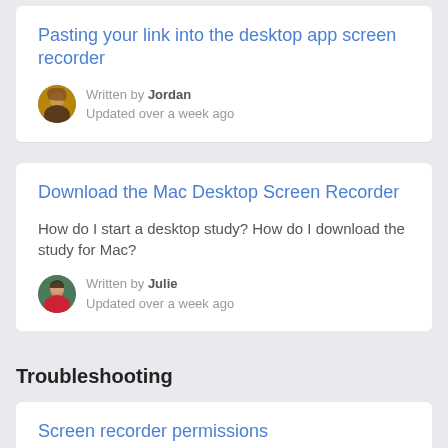Pasting your link into the desktop app screen recorder
Written by Jordan
Updated over a week ago
Download the Mac Desktop Screen Recorder
How do I start a desktop study? How do I download the study for Mac?
Written by Julie
Updated over a week ago
Troubleshooting
Screen recorder permissions
Screen recording permission on your...